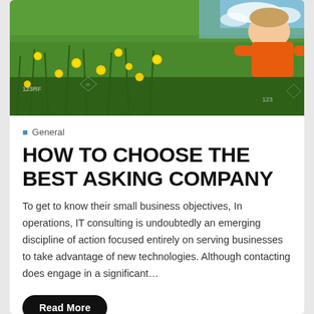[Figure (photo): Stock photo of a child lying in a field of yellow dandelions and green grass, wearing an orange shirt, with 123RF watermark visible]
General
HOW TO CHOOSE THE BEST ASKING COMPANY
To get to know their small business objectives, In operations, IT consulting is undoubtedly an emerging discipline of action focused entirely on serving businesses to take advantage of new technologies. Although contacting does engage in a significant…
Read More